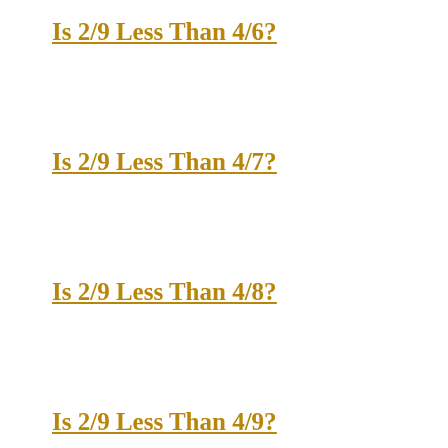Is 2/9 Less Than 4/6?
Is 2/9 Less Than 4/7?
Is 2/9 Less Than 4/8?
Is 2/9 Less Than 4/9?
Is 2/9 Less Than 4/10?
Is 2/9 Less Than 5/6?
Is 2/9 Less Than 5/7?
Is 2/9 Less Than 5/8?